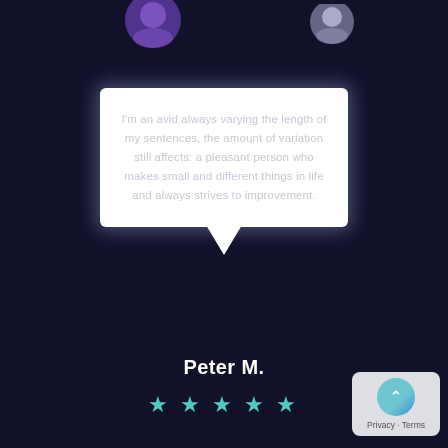[Figure (illustration): Purple avatar circle on the top left of the speech bubble]
[Figure (illustration): Gray/teal avatar circle on the top right]
I'm an avid always varying the length of my sentences, the amount of variation still affects: a pleasant person who makes small and different things in life and always strives to improvement.
Peter M.
[Figure (infographic): Five cyan/teal stars rating row]
[Figure (illustration): Privacy & Terms box with teal circle and chevron icon]